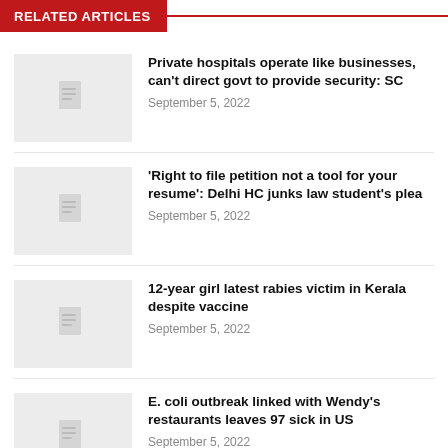RELATED ARTICLES
Private hospitals operate like businesses, can't direct govt to provide security: SC | September 5, 2022
'Right to file petition not a tool for your resume': Delhi HC junks law student's plea | September 5, 2022
12-year girl latest rabies victim in Kerala despite vaccine | September 5, 2022
E. coli outbreak linked with Wendy's restaurants leaves 97 sick in US | September 5, 2022